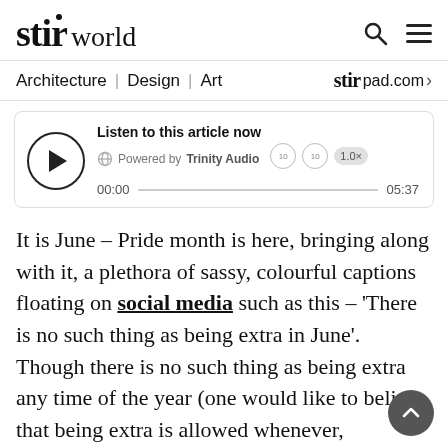stir world
Architecture | Design | Art   stir pad.com
[Figure (screenshot): Audio player widget: Listen to this article now. Powered by Trinity Audio. Time 00:00 to 05:37.]
It is June – Pride month is here, bringing along with it, a plethora of sassy, colourful captions floating on social media such as this – 'There is no such thing as being extra in June'. Though there is no such thing as being extra any time of the year (one would like to believe that being extra is allowed whenever, wherever), this month, in